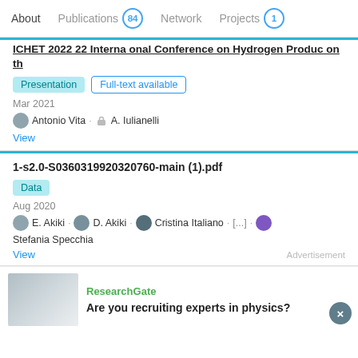About   Publications 84   Network   Projects 1
ICHET 2022 22 International Conference on Hydrogen Production th
Presentation   Full-text available
Mar 2021
Antonio Vita · A. Iulianelli
View
1-s2.0-S0360319920320760-main (1).pdf
Data
Aug 2020
E. Akiki · D. Akiki · Cristina Italiano · [...] · Stefania Specchia
View
Advertisement
ResearchGate
Are you recruiting experts in physics?